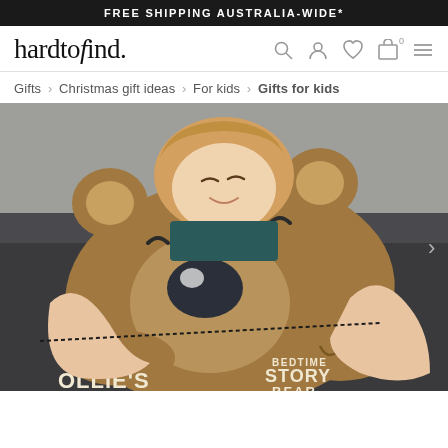FREE SHIPPING AUSTRALIA-WIDE*
hardtofind.
Gifts > Christmas gift ideas > For kids > Gifts for kids
[Figure (photo): A young child lying on a dark couch, holding up a large brown bear-shaped cushion/story bag with 'OLLIE'S BEDTIME STORY BEAR' text on it]